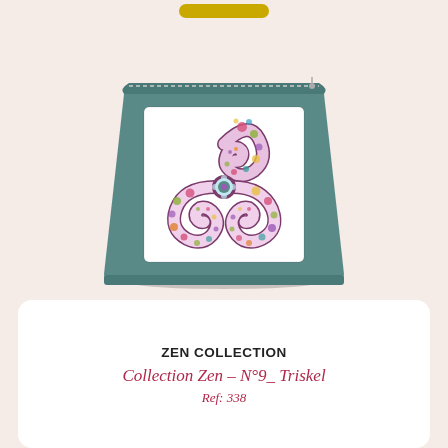[Figure (photo): A teal/green fabric toiletry bag with a white embroidered panel featuring a colorful triskel (Celtic triple spiral) motif filled with floral and decorative patterns in pink, purple, green, teal, and gold colors. The bag has a zipper at the top.]
ZEN COLLECTION
Collection Zen – N°9_ Triskel
Ref: 338